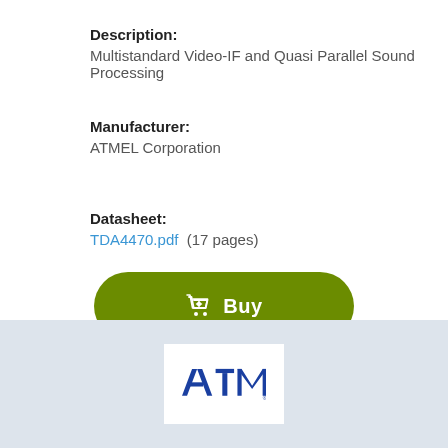Description:
Multistandard Video-IF and Quasi Parallel Sound Processing
Manufacturer:
ATMEL Corporation
Datasheet:
TDA4470.pdf  (17 pages)
[Figure (other): Green rounded Buy button with shopping cart icon and text 'Buy']
[Figure (logo): ATMEL Corporation logo — blue stylized letters on white background]